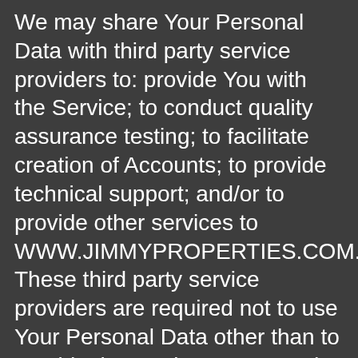We may share Your Personal Data with third party service providers to: provide You with the Service; to conduct quality assurance testing; to facilitate creation of Accounts; to provide technical support; and/or to provide other services to WWW.JIMMYPROPERTIES.COM. These third party service providers are required not to use Your Personal Data other than to provide the services requested by WWW.JIMMYPROPERTIES.COM.
(c) Affiliates
We may share some or all of Your